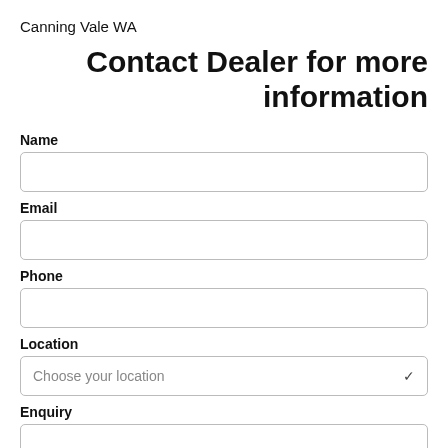Canning Vale WA
Contact Dealer for more information
Name
Email
Phone
Location
Choose your location
Enquiry